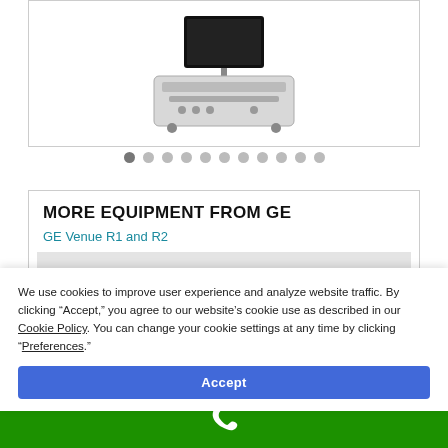[Figure (photo): Medical ultrasound machine with monitor on top and keyboard/control panel below, shown in a white card with border]
[Figure (infographic): Row of 11 circular dot indicators; first dot is dark/active, remaining 10 are light gray]
MORE EQUIPMENT FROM GE
GE Venue R1 and R2
[Figure (photo): Light gray placeholder image area for GE Venue R1 and R2 equipment]
We use cookies to improve user experience and analyze website traffic. By clicking “Accept,” you agree to our website’s cookie use as described in our Cookie Policy. You can change your cookie settings at any time by clicking “Preferences.”
Accept
[Figure (infographic): Green footer bar with white phone icon]